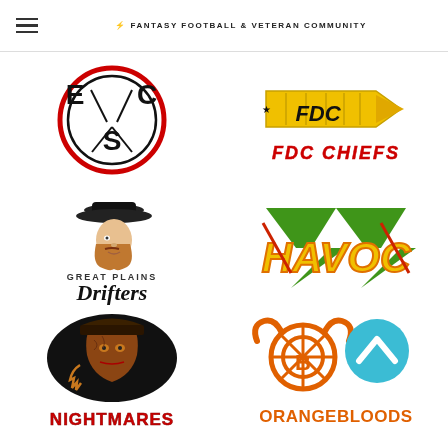FANTASY FOOTBALL & VETERAN COMMUNITY
[Figure (logo): ESC circular logo with letters E, C, S in black and red circle border]
[Figure (logo): FDC Chiefs logo with yellow bullet/arrow graphic and red FDC CHIEFS text]
[Figure (logo): Great Plains Drifters logo with cowboy face illustration and serif italic text]
[Figure (logo): HAVOC logo in bold yellow and green lightning bolt style lettering]
[Figure (logo): Nightmares logo with Freddy Krueger style character in dark oval and red horror text]
[Figure (logo): Orangebloods logo with longhorn bull wheel emblem in orange and teal circle chevron badge]